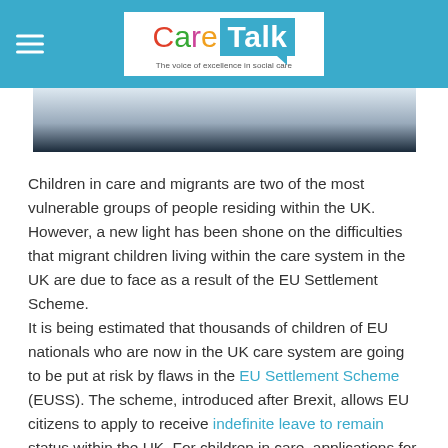Care Talk – The voice of excellence in social care
[Figure (photo): Partial photo of a person sitting outdoors, upper portion visible]
Children in care and migrants are two of the most vulnerable groups of people residing within the UK. However, a new light has been shone on the difficulties that migrant children living within the care system in the UK are due to face as a result of the EU Settlement Scheme.
It is being estimated that thousands of children of EU nationals who are now in the UK care system are going to be put at risk by flaws in the EU Settlement Scheme (EUSS). The scheme, introduced after Brexit, allows EU citizens to apply to receive indefinite leave to remain status within the UK. For children in care, applications for the scheme must be submitted by the local authority